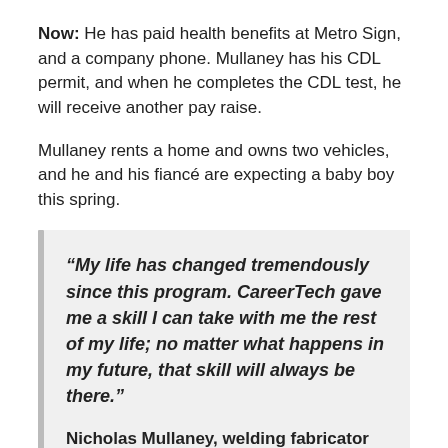Now: He has paid health benefits at Metro Sign, and a company phone. Mullaney has his CDL permit, and when he completes the CDL test, he will receive another pay raise.
Mullaney rents a home and owns two vehicles, and he and his fiancé are expecting a baby boy this spring.
“My life has changed tremendously since this program. CareerTech gave me a skill I can take with me the rest of my life; no matter what happens in my future, that skill will always be there.”

Nicholas Mullaney, welding fabricator